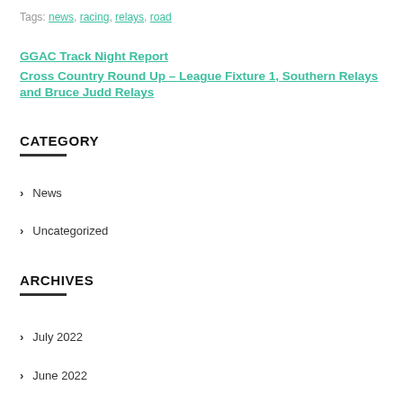Tags: news, racing, relays, road
GGAC Track Night Report
Cross Country Round Up – League Fixture 1, Southern Relays and Bruce Judd Relays
CATEGORY
News
Uncategorized
ARCHIVES
July 2022
June 2022